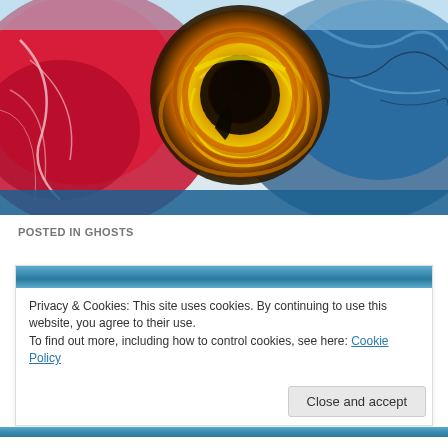[Figure (illustration): Close-up artistic photo of a human eye with vivid colors: red veins on left, blue iris texture on right, swirling yellow and orange around the dark pupil center.]
POSTED IN GHOSTS
Privacy & Cookies: This site uses cookies. By continuing to use this website, you agree to their use.
To find out more, including how to control cookies, see here: Cookie Policy
Close and accept